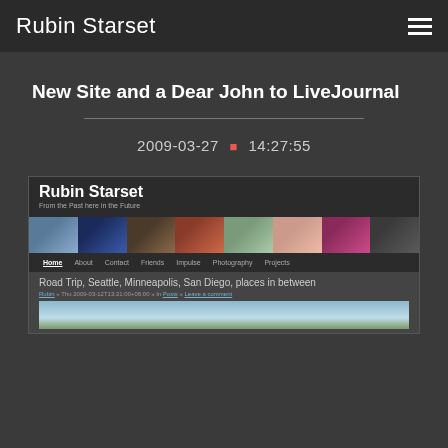Rubin Starset
New Site and a Dear John to LiveJournal
2009-03-27 • 14:27:55
[Figure (screenshot): Screenshot of the Rubin Starset website showing header with site title 'Rubin Starset', tagline 'From the Past here in the Future', a row of 8 personal photos, navigation bar with Home, About, Contact, Friends, Impulse, Photography, Projects, and a post titled 'Road Trip, Seattle, Minneapolis, San Diego, places in between' by Rubin on Thu 2009-03-12T13:21:00+08:00 in Posts with a Leave a comment link, and a partial outdoor photo at the bottom.]